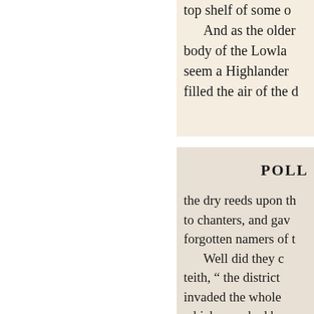top shelf of some o... And as the older... body of the Lowla... seem a Highlander... filled the air of the d...
POLL
the dry reeds upon th... to chanters, and gav... forgotten namers of t... Well did they c... teith, "the district... invaded the whole... which once had be...